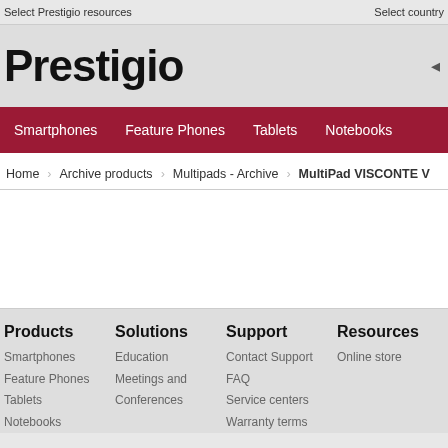Select Prestigio resources   Select country
Prestigio
Smartphones   Feature Phones   Tablets   Notebooks
Home  Archive products  Multipads - Archive  MultiPad VISCONTE V
Products
Smartphones
Feature Phones
Tablets
Notebooks
Solutions
Education
Meetings and Conferences
Support
Contact Support
FAQ
Service centers
Warranty terms
Resources
Online store